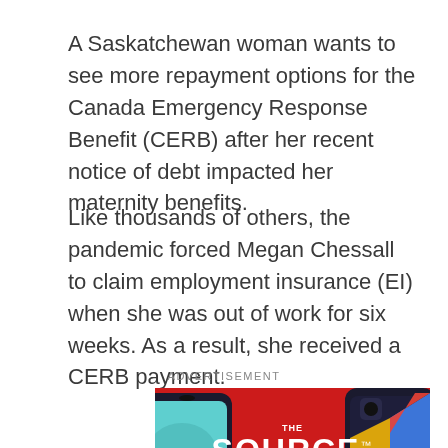A Saskatchewan woman wants to see more repayment options for the Canada Emergency Response Benefit (CERB) after her recent notice of debt impacted her maternity benefits.
Like thousands of others, the pandemic forced Megan Chessall to claim employment insurance (EI) when she was out of work for six weeks. As a result, she received a CERB payment.
ADVERTISEMENT
[Figure (illustration): The Source retail store advertisement. Red background with two smartphones on either side — a teal/blue Samsung phone on the left and a dark phone with colorful Google logo on the right. Center shows 'THE SOURCE' logo in white bold text with trademark symbol. Below the logo: 'Check out our amazing' in white text.]